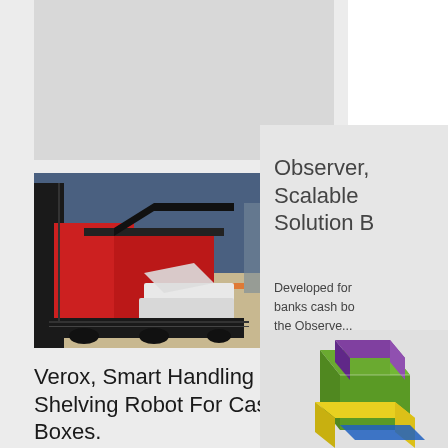[Figure (photo): Top gray placeholder image area]
[Figure (photo): Photo of Verox smart handling and shelving robot for cash boxes — a large red industrial robot machine with white trays/boxes on a warehouse floor, with a person standing nearby]
Verox, Smart Handling & Shelving Robot For Cash Boxes.
Observer, Scalable Solution B
Developed for banks cash bo... the Observe...
[Figure (photo): Colorful stacked geometric boxes/blocks — green, purple, yellow — partially visible at bottom right]